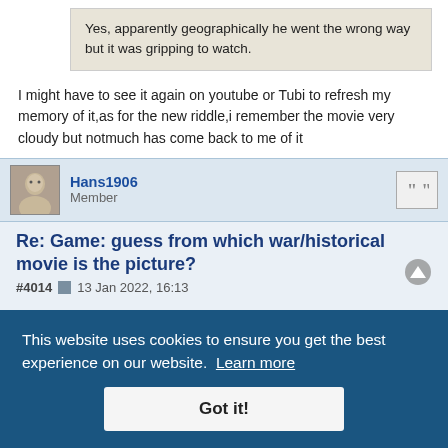Yes, apparently geographically he went the wrong way but it was gripping to watch.
I might have to see it again on youtube or Tubi to refresh my memory of it,as for the new riddle,i remember the movie very cloudy but notmuch has come back to me of it
Hans1906
Member
Re: Game: guess from which war/historical movie is the picture?
#4014 13 Jan 2022, 16:13
Waleed,
a Director: Alfred Hitchcock) 2 00
Wiki (C) https://en.wikipedia.org/wiki/lifeboat_1944 film
I remember the movie from decades ago late in the night on german TV, last german broadcast not known to me, sorry
Rated as a true "classic" movie today, but I hardly remember the content...
This website uses cookies to ensure you get the best experience on our website. Learn more
Got it!